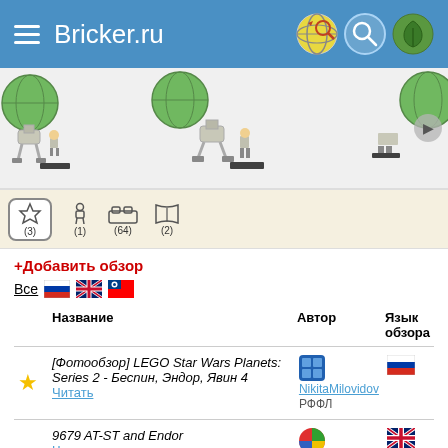Bricker.ru
[Figure (photo): LEGO Star Wars AT-ST and Endor set product images carousel showing multiple angles of the set with minifigures]
[Figure (infographic): Navigation tab bar with icons: star favorite (3), minifigure (1), bricks (64), book (2)]
+Добавить обзор
Все [Russian flag] [UK flag] [Taiwan flag]
|  | Название | Автор | Язык обзора |
| --- | --- | --- | --- |
| ★ | [Фотообзор] LEGO Star Wars Planets: Series 2 - Беспин, Эндор, Явин 4
Читать | NikitaMilovidov
РФФЛ | 🇷🇺 |
|  | 9679 AT-ST and Endor
Читать | Huw
Brickset | 🇬🇧 |